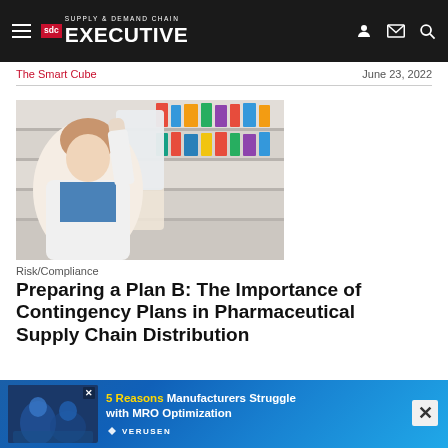Supply & Demand Chain Executive
The Smart Cube
June 23, 2022
[Figure (photo): A pharmacist in a white lab coat reaching up to a shelf in a pharmacy stocked with medications and supplies]
Risk/Compliance
Preparing a Plan B: The Importance of Contingency Plans in Pharmaceutical Supply Chain Distribution
Find out a... y chain management... ali...
[Figure (screenshot): Advertisement banner: 5 Reasons Manufacturers Struggle with MRO Optimization, Verusen]